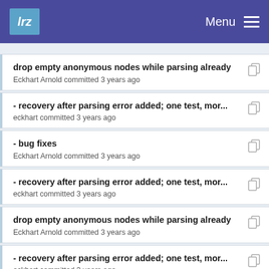lrz  Menu
drop empty anonymous nodes while parsing already
Eckhart Arnold committed 3 years ago
- recovery after parsing error added; one test, mor...
eckhart committed 3 years ago
- bug fixes
Eckhart Arnold committed 3 years ago
- recovery after parsing error added; one test, mor...
eckhart committed 3 years ago
drop empty anonymous nodes while parsing already
Eckhart Arnold committed 3 years ago
- recovery after parsing error added; one test, mor...
eckhart committed 3 years ago
- parser.py renamed to parsers.py to avoid name con...
eckhart committed 4 years ago